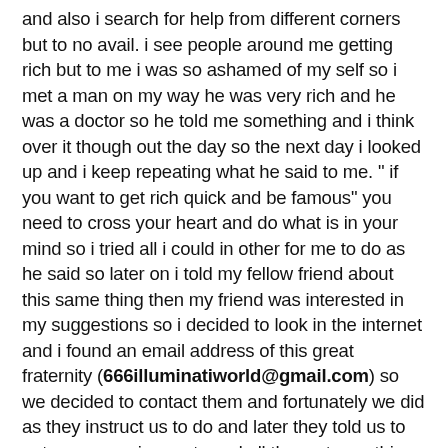and also i search for help from different corners but to no avail. i see people around me getting rich but to me i was so ashamed of my self so i met a man on my way he was very rich and he was a doctor so he told me something and i think over it though out the day so the next day i looked up and i keep repeating what he said to me. " if you want to get rich quick and be famous" you need to cross your heart and do what is in your mind so i tried all i could in other for me to do as he said so later on i told my fellow friend about this same thing then my friend was interested in my suggestions so i decided to look in the internet and i found an email address of this great fraternity (666illuminatiworld@gmail.com) so we decided to contact them and fortunately we did as they instruct us to do and later they told us to get some requirements and all the rest... so this initiation took us just a week and later on the great fraternity gave us $15,000,000 to start up our lives. and now am testifying that is if any one should in case wants to join the great fraternity, all you need to do is for you to contact them because they are legitimate and fast, that is if you are in my former condition and ready to obey their instructions for your own story to be turned around for good without any risk or paying money to someone first... so